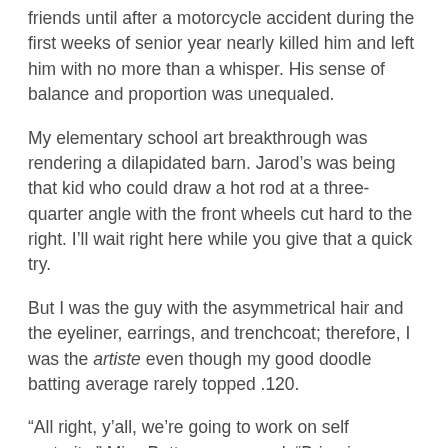friends until after a motorcycle accident during the first weeks of senior year nearly killed him and left him with no more than a whisper.  His sense of balance and proportion was unequaled.
My elementary school art breakthrough was rendering a dilapidated barn.  Jarod's was being that kid who could draw a hot rod at a three-quarter angle with the front wheels cut hard to the right.  I'll wait right here while you give that a quick try.
But I was the guy with the asymmetrical hair and the eyeliner, earrings, and trenchcoat; therefore, I was the artiste even though my good doodle batting average rarely topped .120.
“All right, y’all, we’re going to work on self portraits,” Miss Potter announced.  “Bring in a picture of you that you like and get to thinking about what medium you want to use.”
“What’s medium?”
“Is this going to be graded?”
“Can I do a horse instead?”
“Yes, they’ll be graded, and I’ll hang the best ones in the library